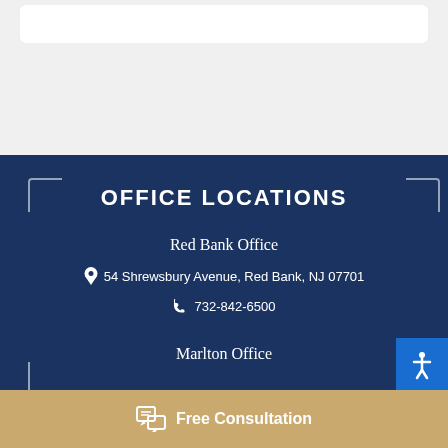OFFICE LOCATIONS
Red Bank Office
54 Shrewsbury Avenue, Red Bank, NJ 07701
732-842-6500
Marlton Office
Free Consultation